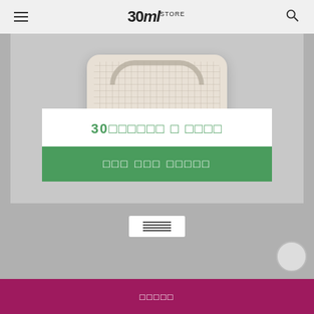30ml STORE navigation bar with hamburger menu and search icon
[Figure (photo): Product image of a beige/cream woven or quilted handbag on gray background]
30□□□□□□ □ □□□□
□□□ □□□ □□□□□
[Figure (other): Scroll indicator icon with horizontal lines]
□□□□□